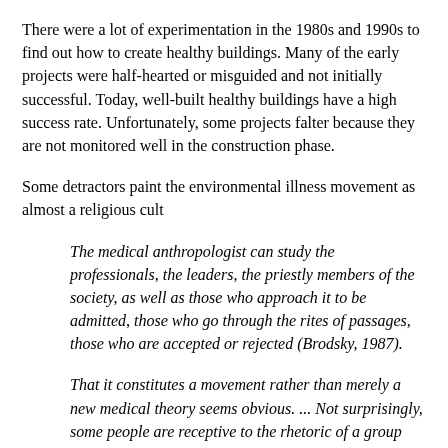There were a lot of experimentation in the 1980s and 1990s to find out how to create healthy buildings. Many of the early projects were half-hearted or misguided and not initially successful. Today, well-built healthy buildings have a high success rate. Unfortunately, some projects falter because they are not monitored well in the construction phase.
Some detractors paint the environmental illness movement as almost a religious cult
The medical anthropologist can study the professionals, the leaders, the priestly members of the society, as well as those who approach it to be admitted, those who go through the rites of passages, those who are accepted or rejected (Brodsky, 1987).
That it constitutes a movement rather than merely a new medical theory seems obvious. ... Not surprisingly, some people are receptive to the rhetoric of a group that claims to show how harmful environmental chemicals can be, not just as potential carcinogens or mutagens but as agents of immediate disabling illness (Kahn, 1993).